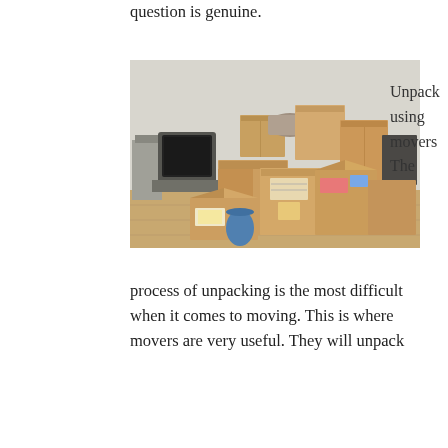question is genuine.
[Figure (photo): A room filled with many cardboard moving boxes in various sizes, some open and some closed, along with a CRT television and other items on a wooden floor against a white wall.]
Unpack using movers The
process of unpacking is the most difficult when it comes to moving. This is where movers are very useful. They will unpack